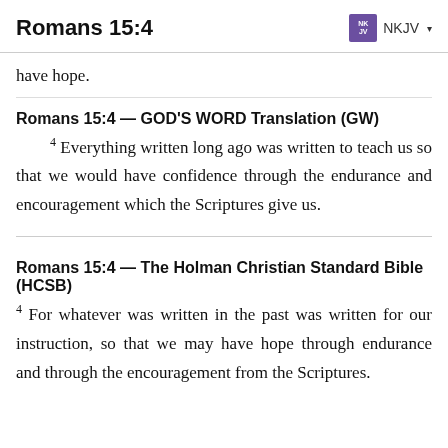Romans 15:4 | NKJV
have hope.
Romans 15:4 — GOD'S WORD Translation (GW)
4 Everything written long ago was written to teach us so that we would have confidence through the endurance and encouragement which the Scriptures give us.
Romans 15:4 — The Holman Christian Standard Bible (HCSB)
4 For whatever was written in the past was written for our instruction, so that we may have hope through endurance and through the encouragement from the Scriptures.